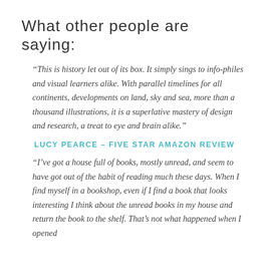What other people are saying:
“This is history let out of its box. It simply sings to info-philes and visual learners alike. With parallel timelines for all continents, developments on land, sky and sea, more than a thousand illustrations, it is a superlative mastery of design and research, a treat to eye and brain alike.”
LUCY PEARCE – FIVE STAR AMAZON REVIEW
“I’ve got a house full of books, mostly unread, and seem to have got out of the habit of reading much these days. When I find myself in a bookshop, even if I find a book that looks interesting I think about the unread books in my house and return the book to the shelf. That’s not what happened when I opened